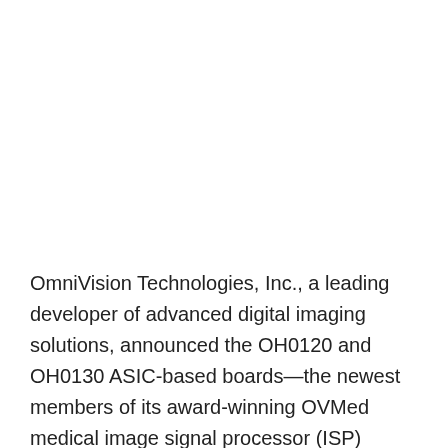OmniVision Technologies, Inc., a leading developer of advanced digital imaging solutions, announced the OH0120 and OH0130 ASIC-based boards—the newest members of its award-winning OVMed medical image signal processor (ISP) family, designed to pair with its high performance medical image sensors for quick integration into single-use and reusable endoscopes as well as catheters. The